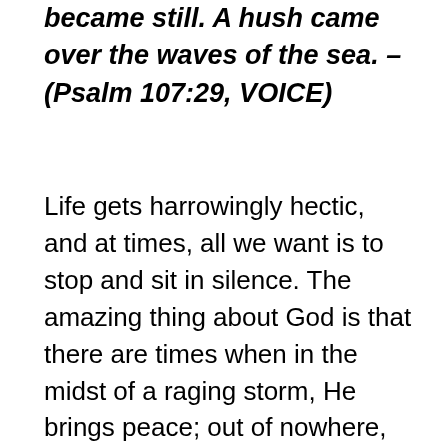became still. A hush came over the waves of the sea. – (Psalm 107:29, VOICE)
Life gets harrowingly hectic, and at times, all we want is to stop and sit in silence. The amazing thing about God is that there are times when in the midst of a raging storm, He brings peace; out of nowhere, we find rest and are refreshed, despite what has been raging around us. The very same God who can command the wind and waves to be still, can calm the hurricane that is happening around us. Sometimes it is in an instant, and other times, He walks us gently through the eye of